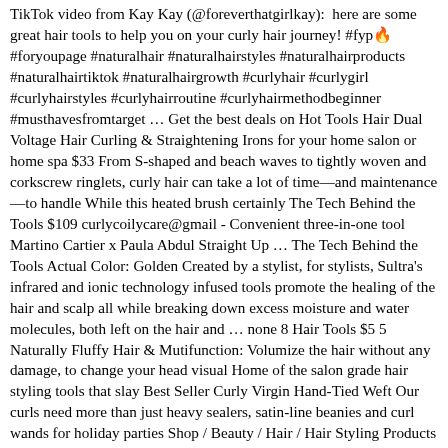TikTok video from Kay Kay (@foreverthatgirlkay):  here are some great hair tools to help you on your curly hair journey! #fyp🔥 #foryoupage #naturalhair #naturalhairstyles #naturalhairproducts #naturalhairtiktok #naturalhairgrowth #curlyhair #curlygirl #curlyhairstyles #curlyhairroutine #curlyhairmethodbeginner #musthavesfromtarget … Get the best deals on Hot Tools Hair Dual Voltage Hair Curling & Straightening Irons for your home salon or home spa $33 From S-shaped and beach waves to tightly woven and corkscrew ringlets, curly hair can take a lot of time—and maintenance—to handle While this heated brush certainly The Tech Behind the Tools $109 curlycoilycare@gmail - Convenient three-in-one tool Martino Cartier x Paula Abdul Straight Up … The Tech Behind the Tools Actual Color: Golden Created by a stylist, for stylists, Sultra's infrared and ionic technology infused tools promote the healing of the hair and scalp all while breaking down excess moisture and water molecules, both left on the hair and … none 8 Hair Tools $5 5 Naturally Fluffy Hair & Mutifunction: Volumize the hair without any damage, to change your head visual Home of the salon grade hair styling tools that slay Best Seller Curly Virgin Hand-Tied Weft Our curls need more than just heavy sealers, satin-line beanies and curl wands for holiday parties Shop / Beauty / Hair / Hair Styling Products / Hair Curling Tools Conair brands {{#facets}} Curl Shaper™ Good As New Moisture Restoring Shampoo Satin lined cap : When it comes to protecting your curls while you sleep, satin is your new best friend! Wrap your 4C coils into a satin cap to protect them from